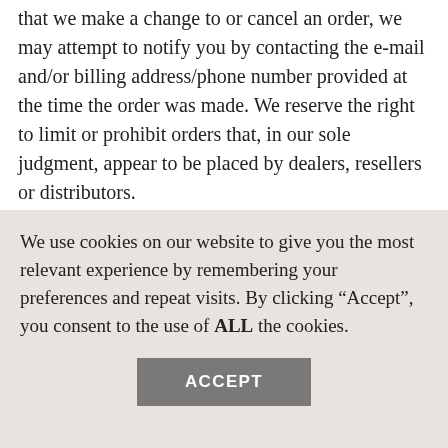that we make a change to or cancel an order, we may attempt to notify you by contacting the e-mail and/or billing address/phone number provided at the time the order was made. We reserve the right to limit or prohibit orders that, in our sole judgment, appear to be placed by dealers, resellers or distributors.
You agree to provide current, complete and accurate purchase and account information for all purchases made at our store. You agree
We use cookies on our website to give you the most relevant experience by remembering your preferences and repeat visits. By clicking "Accept", you consent to the use of ALL the cookies.
ACCEPT